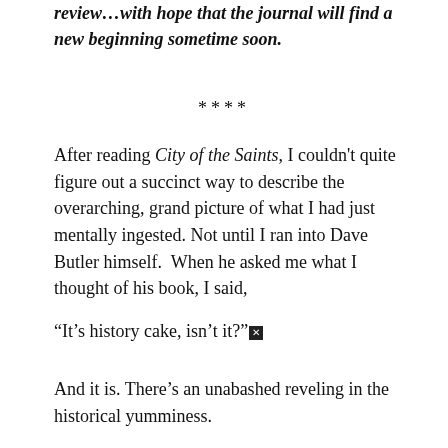review...with hope that the journal will find a new beginning sometime soon.
****
After reading City of the Saints, I couldn't quite figure out a succinct way to describe the overarching, grand picture of what I had just mentally ingested. Not until I ran into Dave Butler himself.  When he asked me what I thought of his book, I said,
“It’s history cake, isn’t it?”
And it is. There’s an unabashed reveling in the historical yumminess.